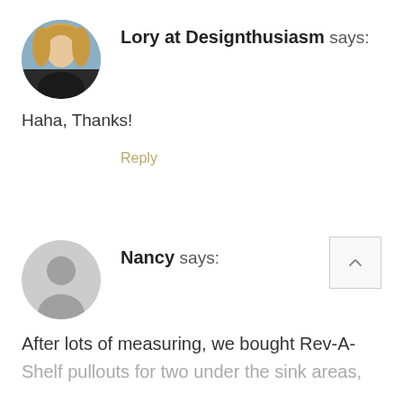[Figure (photo): Circular avatar photo of a blonde woman (Lory) against an outdoor background]
Lory at Designthusiasm says:
Haha, Thanks!
Reply
[Figure (illustration): Default gray circular avatar silhouette for Nancy]
Nancy says:
After lots of measuring, we bought Rev-A-Shelf pullouts for two under the sink areas, the kitchen and the laundry room. They are